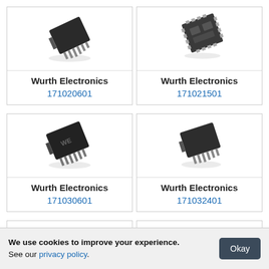[Figure (photo): Black IC chip component – Wurth Electronics 171020601, TO-263 style package with pins, photographed at an angle on white background]
Wurth Electronics
171020601
[Figure (photo): Black square IC chip component – Wurth Electronics 171021501, flat LGA/QFN package with pads, photographed at an angle on white background]
Wurth Electronics
171021501
[Figure (photo): Black IC chip component – Wurth Electronics 171030601, TO-263 style package with WE logo and multiple pins, photographed at angle on white background]
Wurth Electronics
171030601
[Figure (photo): Black IC chip component – Wurth Electronics 171032401, TO-263 style package with multiple pins, photographed at angle on white background]
Wurth Electronics
171032401
We use cookies to improve your experience. See our privacy policy.